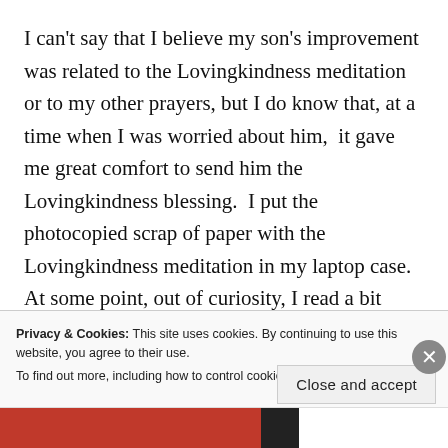I can't say that I believe my son's improvement was related to the Lovingkindness meditation or to my other prayers, but I do know that, at a time when I was worried about him,  it gave me great comfort to send him the Lovingkindness blessing.  I put the photocopied scrap of paper with the Lovingkindness meditation in my laptop case. At some point, out of curiosity, I read a bit more about Metta.  At the risk of oversimplifying an ancient religious practice, the Lovingkindness
Privacy & Cookies: This site uses cookies. By continuing to use this website, you agree to their use.
To find out more, including how to control cookies, see here: Cookie Policy
Close and accept